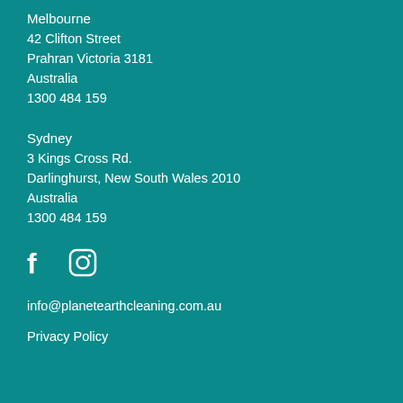Melbourne
42 Clifton Street
Prahran Victoria 3181
Australia
1300 484 159
Sydney
3 Kings Cross Rd.
Darlinghurst, New South Wales 2010
Australia
1300 484 159
[Figure (illustration): Facebook and Instagram social media icons in white]
info@planetearthcleaning.com.au
Privacy Policy